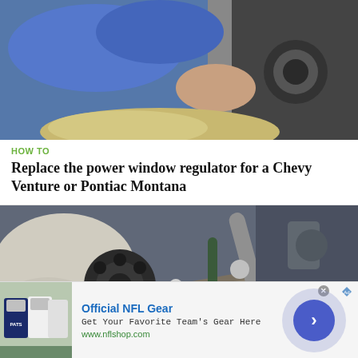[Figure (photo): Person in blue sweatshirt working on a car window mechanism, reaching into a vehicle door panel with mechanical components visible]
HOW TO
Replace the power window regulator for a Chevy Venture or Pontiac Montana
[Figure (photo): Close-up of automotive engine bay or mechanical components with hoses, metal parts, fittings, and tubing visible]
[Figure (photo): Advertisement: Official NFL Gear - NFL jerseys displayed. Get Your Favorite Team's Gear Here. www.nflshop.com]